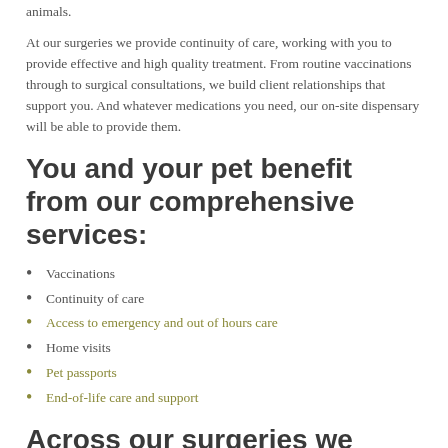animals.
At our surgeries we provide continuity of care, working with you to provide effective and high quality treatment. From routine vaccinations through to surgical consultations, we build client relationships that support you. And whatever medications you need, our on-site dispensary will be able to provide them.
You and your pet benefit from our comprehensive services:
Vaccinations
Continuity of care
Access to emergency and out of hours care
Home visits
Pet passports
End-of-life care and support
Across our surgeries we have a wide range of facilities